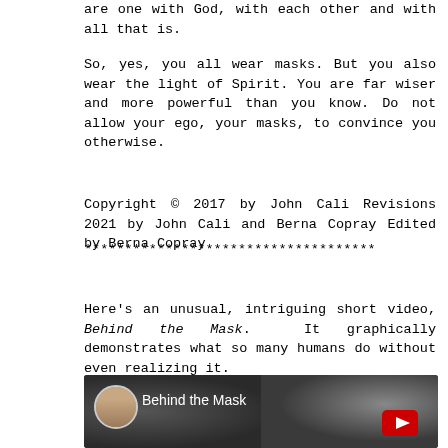are one with God, with each other and with all that is.
So, yes, you all wear masks. But you also wear the light of Spirit. You are far wiser and more powerful than you know. Do not allow your ego, your masks, to convince you otherwise.
Copyright © 2017 by John Cali Revisions 2021 by John Cali and Berna Copray Edited by Berna Copray
************************************
Here's an unusual, intriguing short video, Behind the Mask. It graphically demonstrates what so many humans do without even realizing it.
[Figure (screenshot): YouTube video thumbnail for 'Behind the Mask' showing a man's avatar in a circle and the video title text, with a dark background and YouTube play button visible at bottom right.]